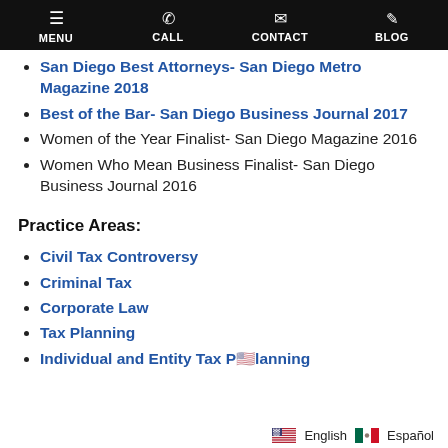MENU  CALL  CONTACT  BLOG
San Diego Best Attorneys- San Diego Metro Magazine 2018
Best of the Bar- San Diego Business Journal 2017
Women of the Year Finalist- San Diego Magazine 2016
Women Who Mean Business Finalist- San Diego Business Journal 2016
Practice Areas:
Civil Tax Controversy
Criminal Tax
Corporate Law
Tax Planning
Individual and Entity Tax Planning
English  Español